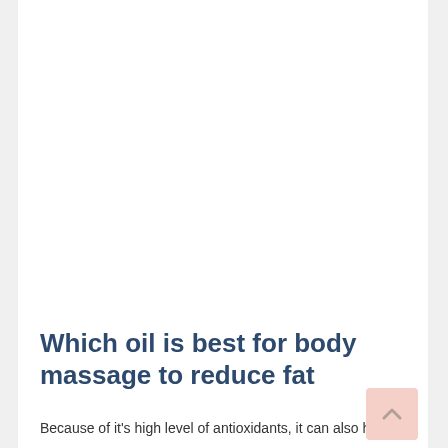Which oil is best for body massage to reduce fat
Because of it's high level of antioxidants, it can also help